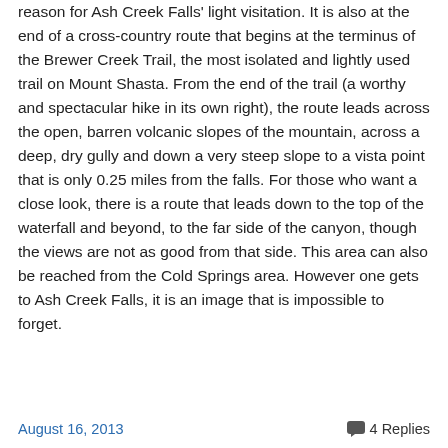reason for Ash Creek Falls' light visitation. It is also at the end of a cross-country route that begins at the terminus of the Brewer Creek Trail, the most isolated and lightly used trail on Mount Shasta. From the end of the trail (a worthy and spectacular hike in its own right), the route leads across the open, barren volcanic slopes of the mountain, across a deep, dry gully and down a very steep slope to a vista point that is only 0.25 miles from the falls. For those who want a close look, there is a route that leads down to the top of the waterfall and beyond, to the far side of the canyon, though the views are not as good from that side. This area can also be reached from the Cold Springs area. However one gets to Ash Creek Falls, it is an image that is impossible to forget.
August 16, 2013
4 Replies